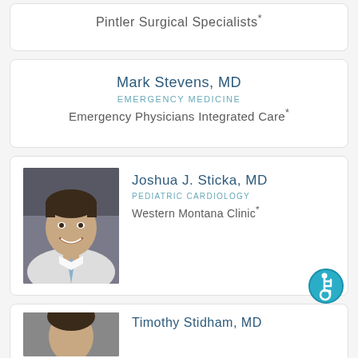Pintler Surgical Specialists*
Mark Stevens, MD
EMERGENCY MEDICINE
Emergency Physicians Integrated Care*
[Figure (photo): Headshot of Joshua J. Sticka, MD, a man in a white shirt and tie, smiling, against a grey background]
Joshua J. Sticka, MD
PEDIATRIC CARDIOLOGY
Western Montana Clinic*
[Figure (photo): Partial headshot of Timothy Stidham, MD]
Timothy Stidham, MD